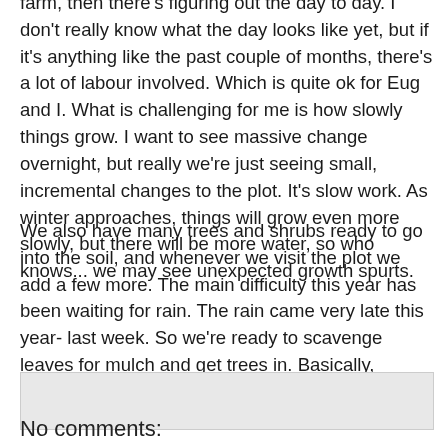farm, then there's figuring out the day to day. I don't really know what the day looks like yet, but if it's anything like the past couple of months, there's a lot of labour involved. Which is quite ok for Eug and I. What is challenging for me is how slowly things grow. I want to see massive change overnight, but really we're just seeing small, incremental changes to the plot. It's slow work. As winter approaches, things will grow even more slowly, but there will be more water, so who knows... we may see unexpected growth spurts.
We also have many trees and shrubs ready to go into the soil, and whenever we visit the plot we add a few more. The main difficulty this year has been waiting for rain. The rain came very late this year- last week. So we're ready to scavenge leaves for mulch and get trees in. Basically, getting ready for spring before winter has really started...
[Figure (other): Gray/light colored rectangular box, likely a comment input area or image placeholder]
No comments: